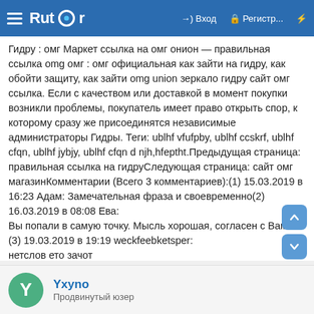Rutor — Вход — Регистр...
Гидру : омг Маркет ссылка на омг онион — правильная ссылка omg омг : омг официальная как зайти на гидру, как обойти защиту, как зайти omg union зеркало гидру сайт омг ссылка. Если с качеством или доставкой в момент покупки возникли проблемы, покупатель имеет право открыть спор, к которому сразу же присоединятся независимые администраторы Гидры. Теги: ublhf vfufpby, ublhf ccskrf, ublhf cfqn, ublhf jybjy, ublhf cfqn d njh,hfeptht.Предыдущая страница: правильная ссылка на гидруСледующая страница: сайт омг магазинКомментарии (Всего 3 комментариев):(1) 15.03.2019 в 16:23 Адам: Замечательная фраза и своевременно(2) 16.03.2019 в 08:08 Ева:
Вы попали в самую точку. Мысль хорошая, согласен с Вами.
(3) 19.03.2019 в 19:19 weckfeebketsper:
нетслов ето зачот
Yxyno
Продвинутый юзер